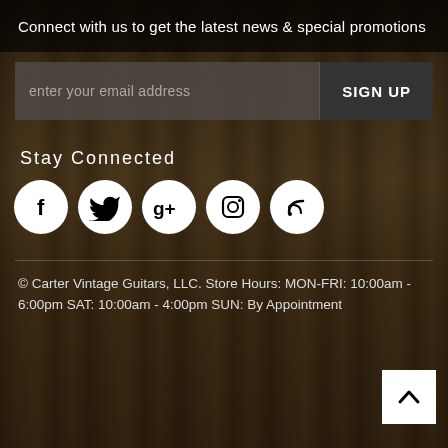Connect with us to get the latest news & special promotions
enter your email address
SIGN UP
Stay Connected
[Figure (infographic): Row of five social media icon circles: Facebook (f), Twitter (bird), Google+ (g+), Instagram (camera), RSS (wifi/signal)]
© Carter Vintage Guitars, LLC. Store Hours: MON-FRI: 10:00am - 6:00pm SAT: 10:00am - 4:00pm SUN: By Appointment